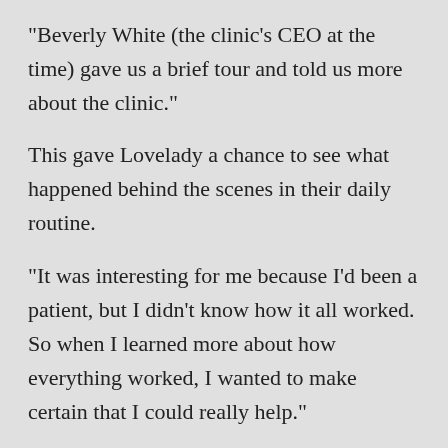“Beverly White (the clinic’s CEO at the time) gave us a brief tour and told us more about the clinic.”
This gave Lovelady a chance to see what happened behind the scenes in their daily routine.
“It was interesting for me because I’d been a patient, but I didn’t know how it all worked. So when I learned more about how everything worked, I wanted to make certain that I could really help.”
As vice president of prevention and advocacy at the Mental Health Association, Lovelady knew she could bring some good things to the table. She